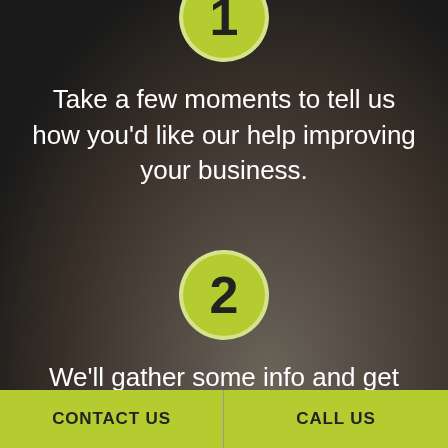[Figure (illustration): Dark background with close-up photo of a hand, partially visible. Serves as background for the entire page.]
1
Take a few moments to tell us how you'd like our help improving your business.
2
We'll gather some info and get back to you with a tailor-made
CONTACT US
CALL US